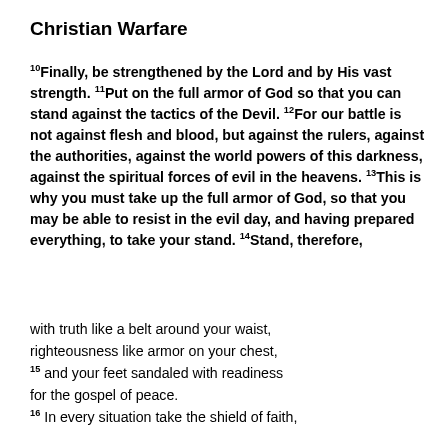Christian Warfare
10Finally, be strengthened by the Lord and by His vast strength. 11Put on the full armor of God so that you can stand against the tactics of the Devil. 12For our battle is not against flesh and blood, but against the rulers, against the authorities, against the world powers of this darkness, against the spiritual forces of evil in the heavens. 13This is why you must take up the full armor of God, so that you may be able to resist in the evil day, and having prepared everything, to take your stand. 14Stand, therefore,
with truth like a belt around your waist,
righteousness like armor on your chest,
15and your feet sandaled with readiness
for the gospel of peace.
16In every situation take the shield of faith,